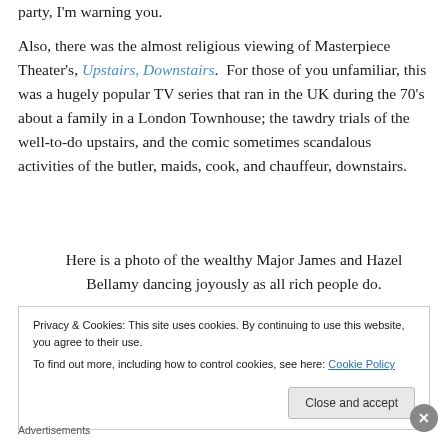party, I'm warning you.
Also, there was the almost religious viewing of Masterpiece Theater's, Upstairs, Downstairs.  For those of you unfamiliar, this was a hugely popular TV series that ran in the UK during the 70's about a family in a London Townhouse; the tawdry trials of the well-to-do upstairs, and the comic sometimes scandalous activities of the butler, maids, cook, and chauffeur, downstairs.
Here is a photo of the wealthy Major James and Hazel Bellamy dancing joyously as all rich people do.
Privacy & Cookies: This site uses cookies. By continuing to use this website, you agree to their use.
To find out more, including how to control cookies, see here: Cookie Policy
Close and accept
Advertisements